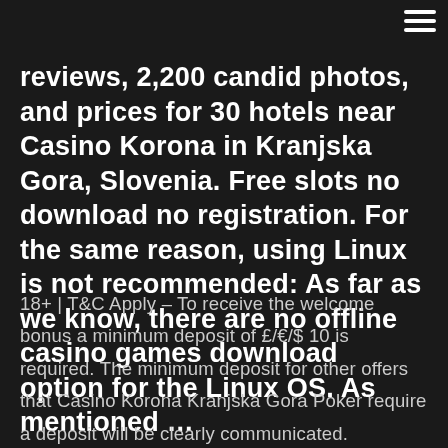reviews, 2,200 candid photos, and prices for 30 hotels near Casino Korona in Kranjska Gora, Slovenia. Free slots no download no registration. For the same reason, using Linux is not recommended: As far as we know, there are no offline casino games download option for the Linux OS. As mentioned …
18+ | T&C Apply – To receive the welcome bonus a minimum deposit of £/€/$ 10 is required. The minimum deposit for other offers that Casino Korona Kranjska Gora Poker require a deposit will be clearly communicated. Maximum bonus offered will be communicated in the details of each specific promo. May 01, 2019 · Casino Korona: Entertaining - See 37 traveller reviews, 45 candid